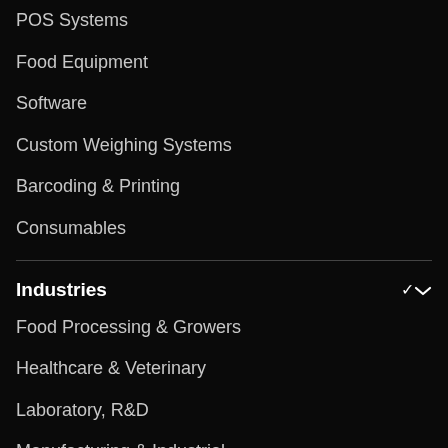POS Systems
Food Equipment
Software
Custom Weighing Systems
Barcoding & Printing
Consumables
Industries
Food Processing & Growers
Healthcare & Veterinary
Laboratory, R&D
Manufacturing & Industrial